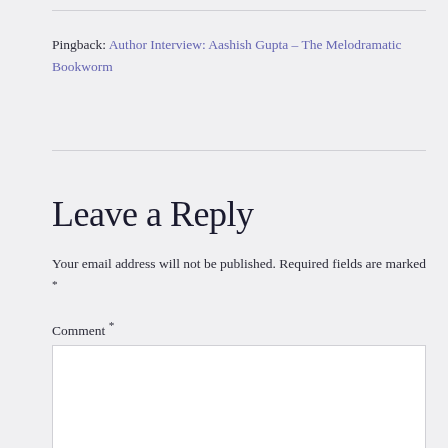Pingback: Author Interview: Aashish Gupta – The Melodramatic Bookworm
Leave a Reply
Your email address will not be published. Required fields are marked *
Comment *